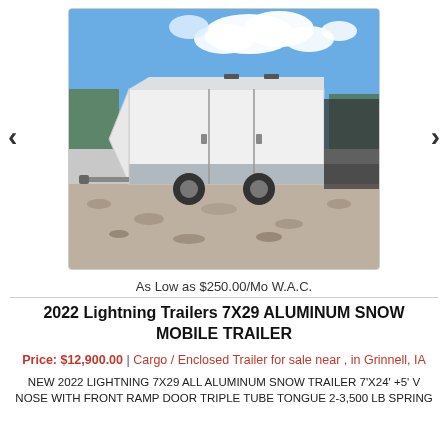[Figure (photo): Photo of a 2022 Lightning Trailers white aluminum enclosed snowmobile trailer parked on gravel with blue sky and clouds in background. A partial view of another dark trailer is visible to the right.]
As Low as $250.00/Mo W.A.C.
2022 Lightning Trailers 7X29 ALUMINUM SNOW MOBILE TRAILER
Price: $12,900.00  |  Cargo / Enclosed Trailer for sale near , in Grinnell, IA
NEW 2022 LIGHTNING 7X29 ALL ALUMINUM SNOW TRAILER 7'X24' +5' V NOSE WITH FRONT RAMP DOOR TRIPLE TUBE TONGUE 2-3,500 LB SPRING